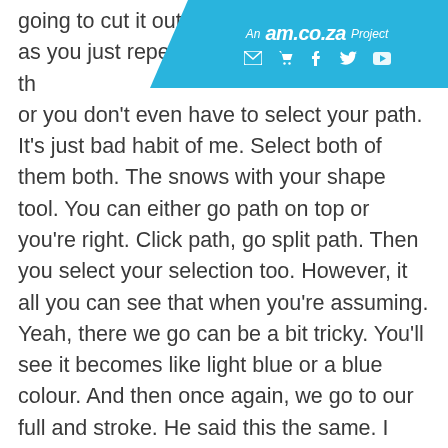An am.co.za Project
going to cut it out solid b... as you just repeated on th... or you don't even have to select your path. It's just bad habit of me. Select both of them both. The snows with your shape tool. You can either go path on top or you're right. Click path, go split path. Then you select your selection too. However, it all you can see that when you're assuming. Yeah, there we go can be a bit tricky. You'll see it becomes like light blue or a blue colour. And then once again, we go to our full and stroke. He said this the same. I think it was 3. 10. So I'm gonna make this something like 40 and 20 just to see what that looks like. Yeah, that's more something that will go for So now, if we click preview, you know, you just said the other side the same. And then when it cuts, it will cut your windows shape or window path that side So you can easily just papa these little